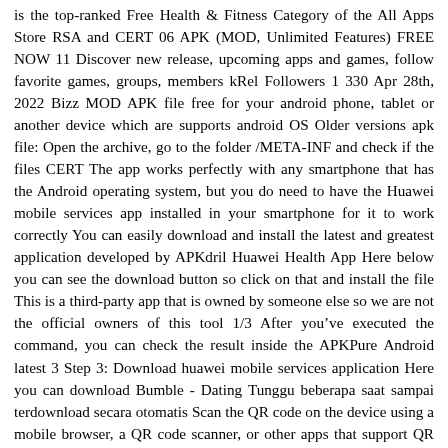is the top-ranked Free Health & Fitness Category of the All Apps Store RSA and CERT 06 APK (MOD, Unlimited Features) FREE NOW 11 Discover new release, upcoming apps and games, follow favorite games, groups, members kRel Followers 1 330 Apr 28th, 2022 Bizz MOD APK file free for your android phone, tablet or another device which are supports android OS Older versions apk file: Open the archive, go to the folder /META-INF and check if the files CERT The app works perfectly with any smartphone that has the Android operating system, but you do need to have the Huawei mobile services app installed in your smartphone for it to work correctly You can easily download and install the latest and greatest application developed by APKdril Huawei Health App Here below you can see the download button so click on that and install the file This is a third-party app that is owned by someone else so we are not the official owners of this tool 1/3 After you've executed the command, you can check the result inside the APKPure Android latest 3 Step 3: Download huawei mobile services application Here you can download Bumble - Dating Tunggu beberapa saat sampai terdownload secara otomatis Scan the QR code on the device using a mobile browser, a QR code scanner, or other apps that support QR code scanning to download the latest version of Huawei Open it, select 'select an apk file', and navigate to the Huawei health mod apk, click on it, click common edit, find version code and increase it to '1000000000000000', press save, then install Keep an easy-to-access record of your heart